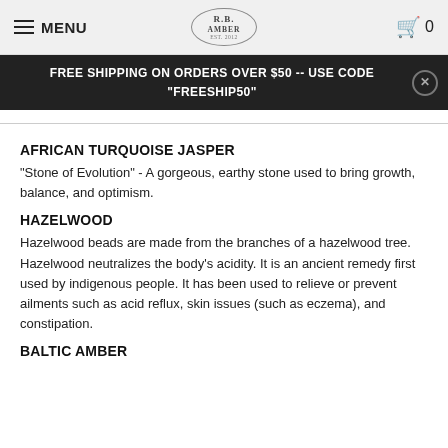MENU | R.B. AMBER | 0
FREE SHIPPING ON ORDERS OVER $50 -- USE CODE "FREESHIP50"
AFRICAN TURQUOISE JASPER
"Stone of Evolution" - A gorgeous, earthy stone used to bring growth, balance, and optimism.
HAZELWOOD
Hazelwood beads are made from the branches of a hazelwood tree. Hazelwood neutralizes the body's acidity. It is an ancient remedy first used by indigenous people. It has been used to relieve or prevent ailments such as acid reflux, skin issues (such as eczema), and constipation.
BALTIC AMBER